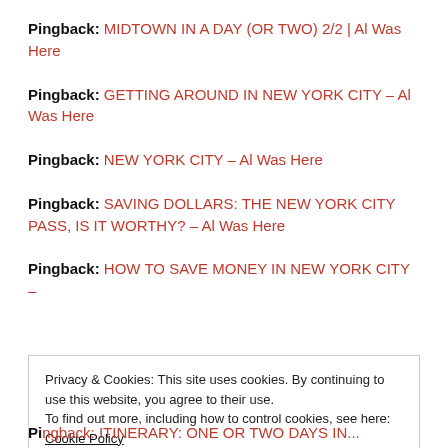Pingback: MIDTOWN IN A DAY (OR TWO) 2/2 | Al Was Here
Pingback: GETTING AROUND IN NEW YORK CITY – Al Was Here
Pingback: NEW YORK CITY – Al Was Here
Pingback: SAVING DOLLARS: THE NEW YORK CITY PASS, IS IT WORTHY? – Al Was Here
Pingback: HOW TO SAVE MONEY IN NEW YORK CITY –
Privacy & Cookies: This site uses cookies. By continuing to use this website, you agree to their use. To find out more, including how to control cookies, see here: Cookie Policy
Pingback: ITINERARY: ONE OR TWO DAYS IN...